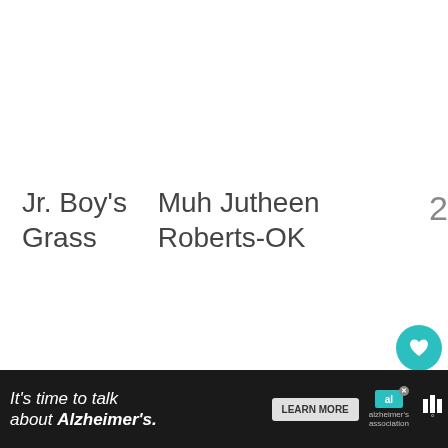Jr. Boy's Grass   Muh Jutheen Roberts-OK   2
Jr. Boy's Grass   Hunter Street-ND   3
[Figure (infographic): Sidebar UI with teal heart button, like count '1', and share button]
WHAT'S NEXT → Wacipi 2014 Winners
[Figure (infographic): Ad bar: It's time to talk about Alzheimer's. LEARN MORE button, Alzheimer's Association logo, WW logo]